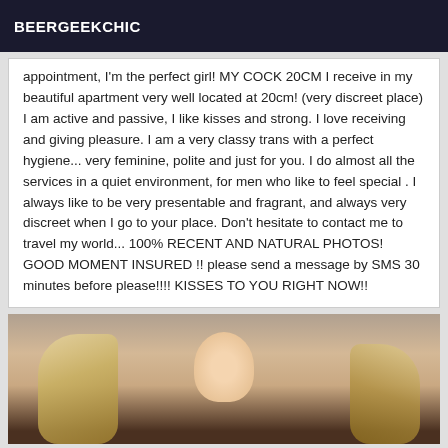BEERGEEKCHIC
appointment, I'm the perfect girl! MY COCK 20CM I receive in my beautiful apartment very well located at 20cm! (very discreet place) I am active and passive, I like kisses and strong. I love receiving and giving pleasure. I am a very classy trans with a perfect hygiene... very feminine, polite and just for you. I do almost all the services in a quiet environment, for men who like to feel special . I always like to be very presentable and fragrant, and always very discreet when I go to your place. Don't hesitate to contact me to travel my world... 100% RECENT AND NATURAL PHOTOS! GOOD MOMENT INSURED !! please send a message by SMS 30 minutes before please!!!! KISSES TO YOU RIGHT NOW!!
[Figure (photo): Partial photo of a blonde person, cropped at bottom of page]